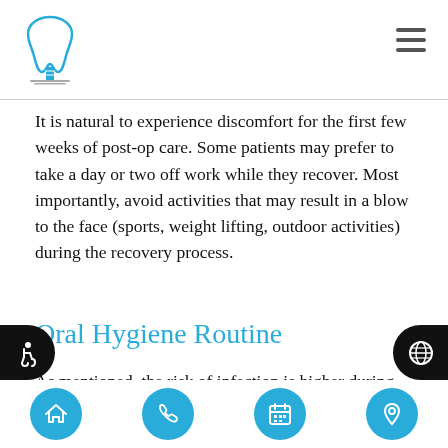Dental implants logo and navigation header
It is natural to experience discomfort for the first few weeks of post-op care. Some patients may prefer to take a day or two off work while they recover. Most importantly, avoid activities that may result in a blow to the face (sports, weight lifting, outdoor activities) during the recovery process.
Oral Hygiene Routine
As mentioned, the risk of infection is higher during recovery, so a proper oral hygiene routine is essential. Be certain to brush gently
Navigation bar with home, phone, calendar, and location icons